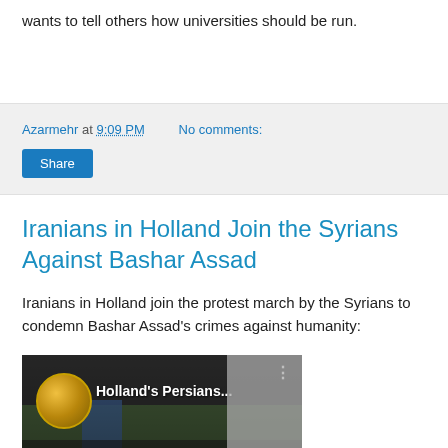wants to tell others how universities should be run.
Azarmehr at 9:09 PM   No comments:
Share
Iranians in Holland Join the Syrians Against Bashar Assad
Iranians in Holland join the protest march by the Syrians to condemn Bashar Assad's crimes against humanity:
[Figure (screenshot): Video thumbnail showing Holland's Persians title with a gold coin/medal icon, trees and people in background, and a grey section on the right side]